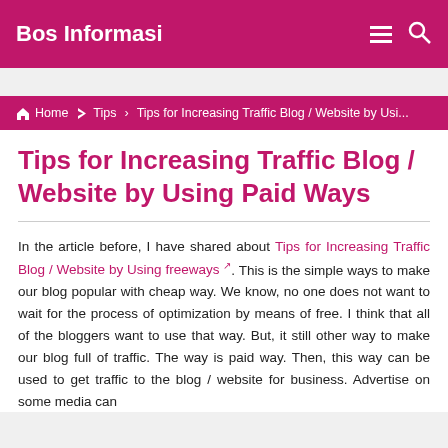Bos Informasi
Home › Tips › Tips for Increasing Traffic Blog / Website by Usi...
Tips for Increasing Traffic Blog / Website by Using Paid Ways
In the article before, I have shared about Tips for Increasing Traffic Blog / Website by Using freeways ↗. This is the simple ways to make our blog popular with cheap way. We know, no one does not want to wait for the process of optimization by means of free. I think that all of the bloggers want to use that way. But, it still other way to make our blog full of traffic. The way is paid way. Then, this way can be used to get traffic to the blog / website for business. Advertise on some media can